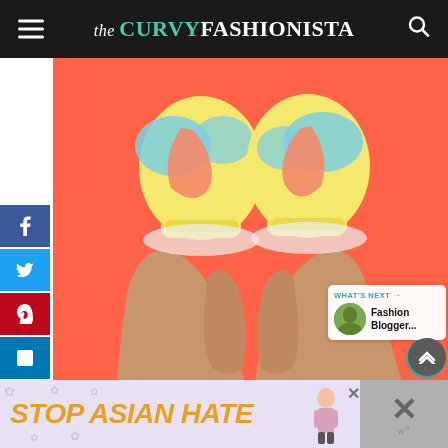the CURVY FASHIONISTA
[Figure (photo): Close-up photo of crossed legs with colorful flamingo-patterned socks (yellow, light blue, coral) against a bright orange background]
[Figure (infographic): Social media share sidebar with Facebook, Twitter, Pinterest, and LinkedIn buttons]
[Figure (infographic): Right-side widgets: heart/save button (teal), count of 2, share button]
WHAT'S NEXT → Fashion Blogger...
[Figure (screenshot): Ad banner: STOP ASIAN HATE in yellow italic text on lavender background with flower decorations and a small figure illustration]